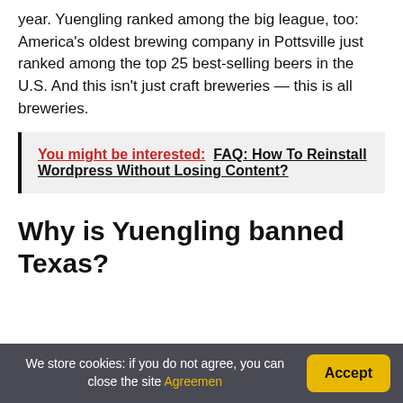year. Yuengling ranked among the big league, too: America's oldest brewing company in Pottsville just ranked among the top 25 best-selling beers in the U.S. And this isn't just craft breweries — this is all breweries.
You might be interested:  FAQ: How To Reinstall Wordpress Without Losing Content?
Why is Yuengling banned Texas?
We store cookies: if you do not agree, you can close the site Agreemen